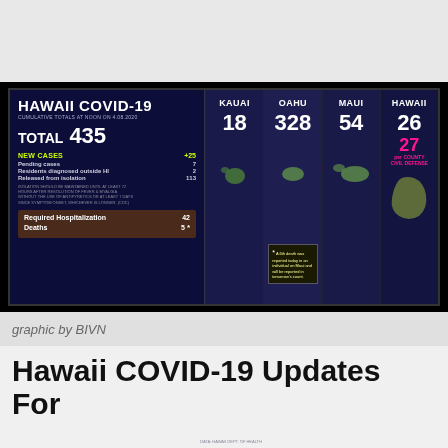[Figure (infographic): Hawaii COVID-19 cumulative totals infographic at noon on 4.08.2020. Total: 435, New Cases: +25, Pending cases: 7, Residents diagnosed outside HI: 2, Released from isolation: 113. Required Hospitalization: 42, Deaths: 5. By county — Kauai: 18, Oahu: 328, Maui: 54, Hawaii: 26 (27 per County Civil Defense). Note: A 6th death was reported today in an individual on Maui and will be reported in tomorrow's count. Data: Hawaii Dept. of Health.]
graphic by BIVN
Hawaii COVID-19 Updates For